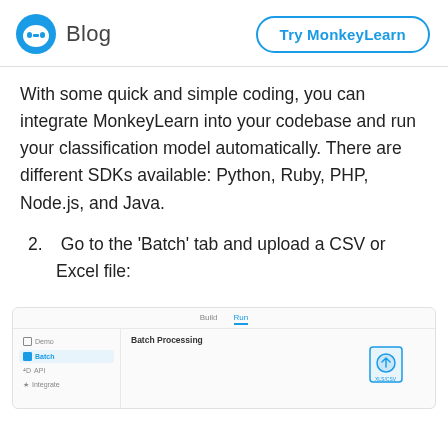Blog | Try MonkeyLearn
With some quick and simple coding, you can integrate MonkeyLearn into your codebase and run your classification model automatically. There are different SDKs available: Python, Ruby, PHP, Node.js, and Java.
2. Go to the 'Batch' tab and upload a CSV or Excel file:
[Figure (screenshot): Screenshot of MonkeyLearn interface showing the Batch Processing tab with sidebar items: Demo, Batch (selected), API, Integrate, and a file upload icon in the main panel.]